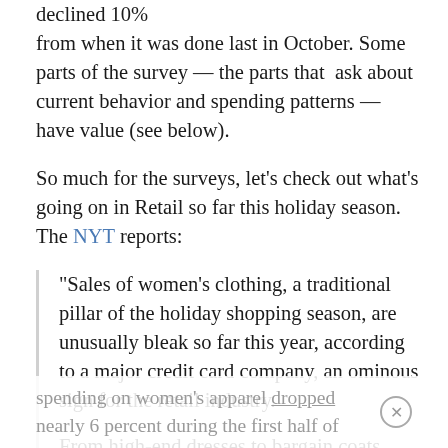declined 10% from when it was done last in October. Some parts of the survey — the parts that ask about current behavior and spending patterns — have value (see below).
So much for the surveys, let's check out what's going on in Retail so far this holiday season. The NYT reports:
"Sales of women's clothing, a traditional pillar of the holiday shopping season, are unusually bleak so far this year, according to a major credit card company, an ominous sign for the retail industry.
From high-end dresses to bargain coats, spending on women's apparel dropped nearly 6 percent during the first half of